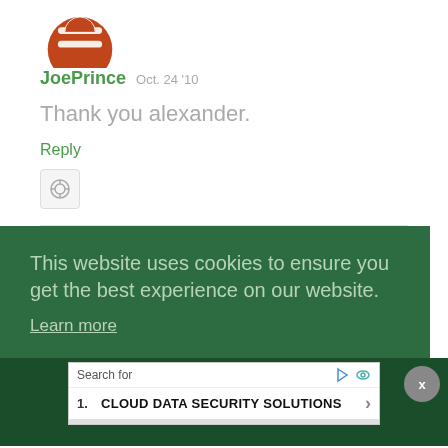[Figure (illustration): Orange circular avatar/logo with stylized letter or icon, partially cropped at top]
JoePrince Oct. 24 '10
Thank you alexander.
Reply
[Figure (illustration): Small grey icon button with a circular symbol inside a bordered box]
This website uses cookies to ensure you get the best experience on our website.
Learn more
Search for
1.   CLOUD DATA SECURITY SOLUTIONS